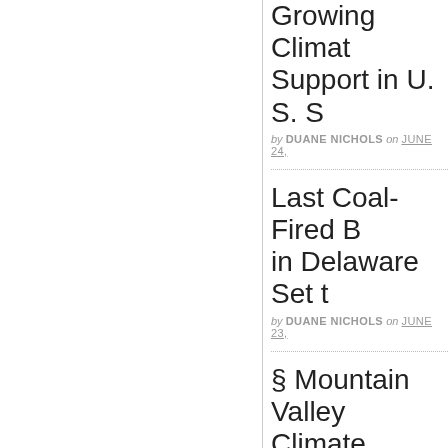Growing Climate Support in U. S. S...
by DUANE NICHOLS on JUNE 24...
Last Coal-Fired B... in Delaware Set t...
by DUANE NICHOLS on JUNE 23...
§ Mountain Valley... Climate Change...
by DUANE NICHOLS on JUNE 22...
Scranton to Wilm... Protect Our Gran...
by DUANE NICHOLS on JUNE 21...